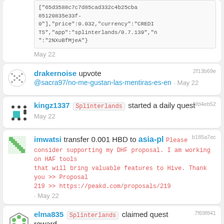["65d3588c7c7d85cad332c4b25cba85120835e33f-0"],"price":0.032,"currency":"CREDITS","app":"splinterlands/0.7.139","n":"2NXuBfMjeA"}
May 22
2f13b69e
drakernoise upvote @sacra97/no-me-gustan-las-mentiras-es-en · May 22
5fd4eb52
kingz1337 Splinterlands started a daily quest May 22
b185a7ec
imwatsi transfer 0.001 HBD to asia-pl Please consider supporting my DHF proposal. I am working on HAF tools that will bring valuable features to Hive. Thank you >> Proposal 219 >> https://peakd.com/proposals/219 · May 22
7f69f841
elma835 Splinterlands claimed quest reward May 22
65710604
peakmonsters5 custom json